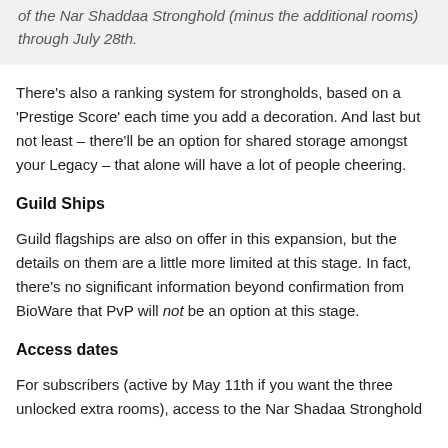of the Nar Shaddaa Stronghold (minus the additional rooms) through July 28th.
There's also a ranking system for strongholds, based on a 'Prestige Score' each time you add a decoration. And last but not least – there'll be an option for shared storage amongst your Legacy – that alone will have a lot of people cheering.
Guild Ships
Guild flagships are also on offer in this expansion, but the details on them are a little more limited at this stage. In fact, there's no significant information beyond confirmation from BioWare that PvP will not be an option at this stage.
Access dates
For subscribers (active by May 11th if you want the three unlocked extra rooms), access to the Nar Shadaa Stronghold